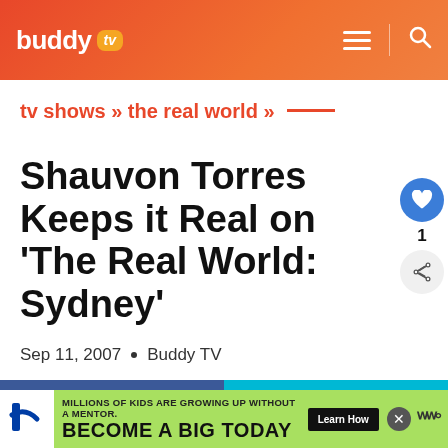buddy tv
tv shows » the real world »
Shauvon Torres Keeps it Real on 'The Real World: Sydney'
Sep 11, 2007  •  Buddy TV
Facebook
Twitter
MILLIONS OF KIDS ARE GROWING UP WITHOUT A MENTOR. BECOME A BIG TODAY  Learn How